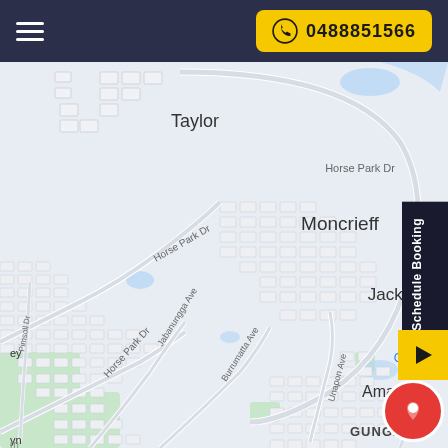0488851566
[Figure (map): Street map showing suburbs of Taylor, Moncrieff, Jacka, Amaroo, and Gungahlin in Canberra, Australia. Roads shown include Horse Park Dr, Jabanungga Ave, Burrumatta Ave, Unapon Ave, Mirabe Ave, and Pimsoll Dr. Map has light grey and white street grid with blue water features and green park areas.]
Schedule Booking